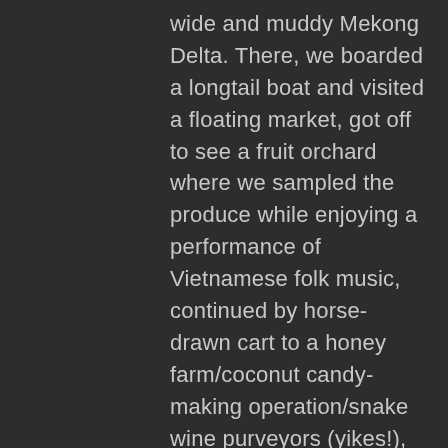wide and muddy Mekong Delta. There, we boarded a longtail boat and visited a floating market, got off to see a fruit orchard where we sampled the produce while enjoying a performance of Vietnamese folk music, continued by horse-drawn cart to a honey farm/coconut candy-making operation/snake wine purveyors (yikes!), were handed a python for a photo op (eek!), then were shepherded onto rowboats for a ride down a narrow canal, where our longtail boat was waiting to take us to an island restaurant serving the unique local delicacy, called elephant-ear fish, after which we were given fresh coconut juice and deposited ashore to catch our bus back to Saigon (insert sound effect